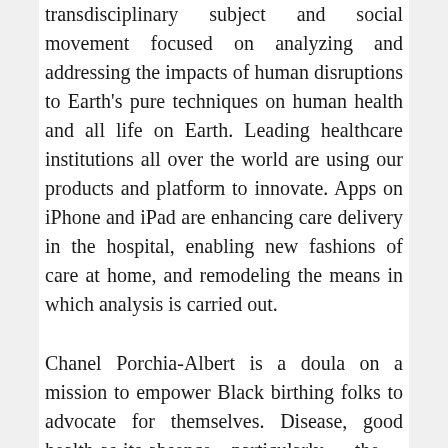transdisciplinary subject and social movement focused on analyzing and addressing the impacts of human disruptions to Earth's pure techniques on human health and all life on Earth. Leading healthcare institutions all over the world are using our products and platform to innovate. Apps on iPhone and iPad are enhancing care delivery in the hospital, enabling new fashions of care at home, and remodeling the means in which analysis is carried out.
Chanel Porchia-Albert is a doula on a mission to empower Black birthing folks to advocate for themselves. Disease, good health as its absence—particularly the absence of continuous disease, because the particular